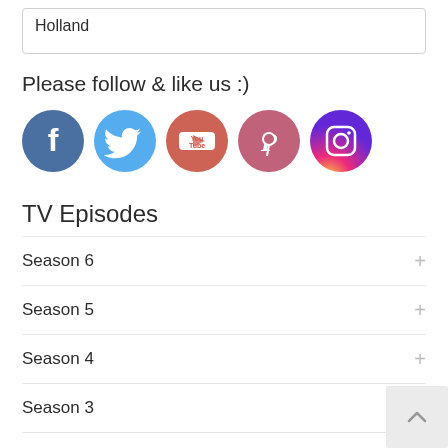Holland
Please follow & like us :)
[Figure (illustration): Row of five social media icon circles: Facebook (dark blue), Twitter (light blue), YouTube (red-pink), Pinterest (pink-red), Instagram (gradient purple-orange)]
TV Episodes
Season 6
Season 5
Season 4
Season 3
Season 2
Season 1